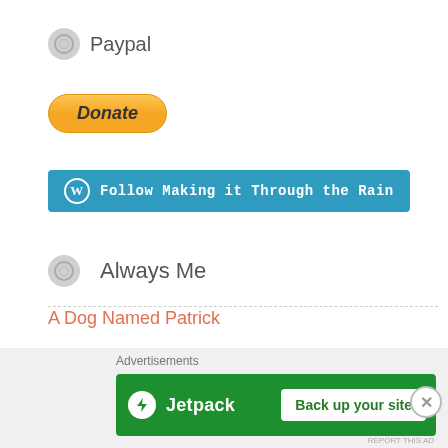Paypal
[Figure (other): PayPal Donate button - orange gradient rounded rectangle with italic bold text 'Donate']
[Figure (other): WordPress Follow button - blue rounded rectangle with WP icon and text 'Follow Making it Through the Rain']
Always Me
A Dog Named Patrick
Facebook
My Zazzle
Advertisements
[Figure (other): Jetpack advertisement banner - green background with Jetpack logo and 'Back up your site' button]